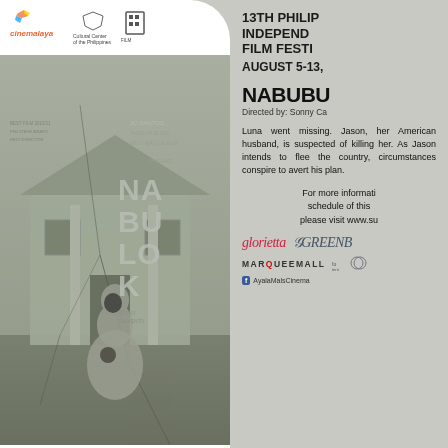[Figure (photo): Movie poster for Nabulok showing a cracked mannequin figure in front of a dilapidated house, in muted grey-green tones. Text overlay reads NABULOK with credits including Directed by Sonny Calvento.]
13TH PHILIPPINE INDEPENDENT FILM FESTIVAL
AUGUST 5-13,
NABABU
Directed by: Sonny Ca
Luna went missing. Jason, her American husband, is suspected of killing her. As Jason intends to flee the country, circumstances conspire to avert his plan.
For more information on the schedule of this film, please visit www.su
glorietta Greenb
MARQUEEMALL
AyalaMalsCinema